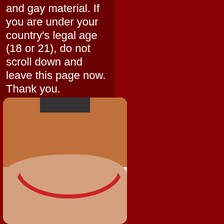and gay material. If you are under your country's legal age (18 or 21), do not scroll down and leave this page now. Thank you.
[Figure (photo): Partial outdoor photo showing a brick wall, white concrete blocks, and what appears to be a person wearing a red-trimmed white garment, photographed from behind near a building exterior.]